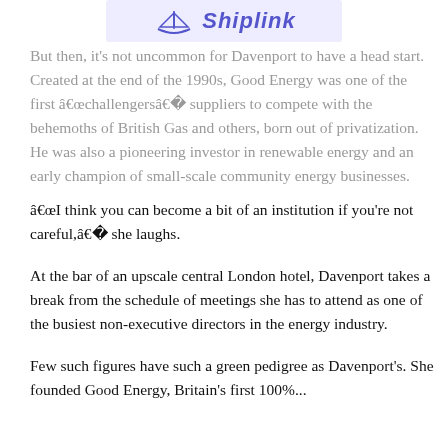[Figure (logo): Shiplink logo with boat icon on light purple/lavender background]
But then, it's not uncommon for Davenport to have a head start. Created at the end of the 1990s, Good Energy was one of the first “challengers” suppliers to compete with the behemoths of British Gas and others, born out of privatization. He was also a pioneering investor in renewable energy and an early champion of small-scale community energy businesses.
“I think you can become a bit of an institution if you’re not careful,” she laughs.
At the bar of an upscale central London hotel, Davenport takes a break from the schedule of meetings she has to attend as one of the busiest non-executive directors in the energy industry.
Few such figures have such a green pedigree as Davenport’s. She founded Good Energy, Britain’s first 100%...